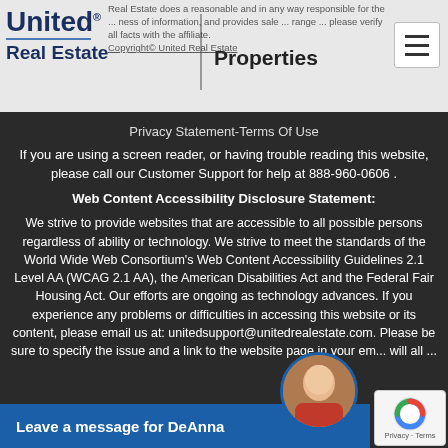United Real Estate | Properties
Real Estate does a reasonable and every way responsible for the ... ness of information, and provides sale ... range ... please verify all facts with the affiliate. Copyright© United Real Estate
Privacy Statement-Terms Of Use
If you are using a screen reader, or having trouble reading this website, please call our Customer Support for help at 888-960-0606 .
Web Content Accessibility Disclosure Statement:
We strive to provide websites that are accessible to all possible persons regardless of ability or technology. We strive to meet the standards of the World Wide Web Consortium's Web Content Accessibility Guidelines 2.1 Level AA (WCAG 2.1 AA), the American Disabilities Act and the Federal Fair Housing Act. Our efforts are ongoing as technology advances. If you experience any problems or difficulties in accessing this website or its content, please email us at: unitedsupport@unitedrealestate.com. Please be sure to specify the issue and a link to the website page in your em... will all ...